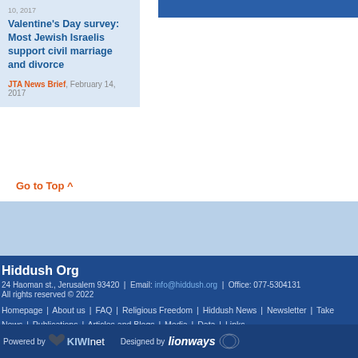10, 2017
Valentine's Day survey: Most Jewish Israelis support civil marriage and divorce
JTA News Brief, February 14, 2017
Go to Top ^
Hiddush Org
24 Haoman st., Jerusalem 93420 | Email: info@hiddush.org | Office: 077-5304131
All rights reserved © 2022
Homepage | About us | FAQ | Religious Freedom | Hiddush News | Newsletter | Take Action | News | Publications | Articles and Blogs | Media | Data | Links
[Figure (logo): Powered by KiwiNet logo and Designed by Lionways logo]